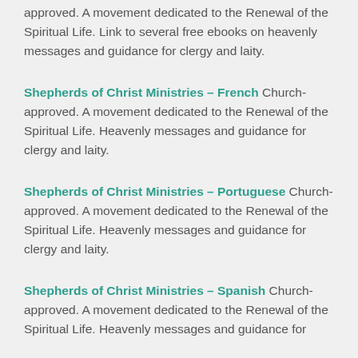approved. A movement dedicated to the Renewal of the Spiritual Life. Link to several free ebooks on heavenly messages and guidance for clergy and laity.
Shepherds of Christ Ministries – French Church-approved. A movement dedicated to the Renewal of the Spiritual Life. Heavenly messages and guidance for clergy and laity.
Shepherds of Christ Ministries – Portuguese Church-approved. A movement dedicated to the Renewal of the Spiritual Life. Heavenly messages and guidance for clergy and laity.
Shepherds of Christ Ministries – Spanish Church-approved. A movement dedicated to the Renewal of the Spiritual Life. Heavenly messages and guidance for